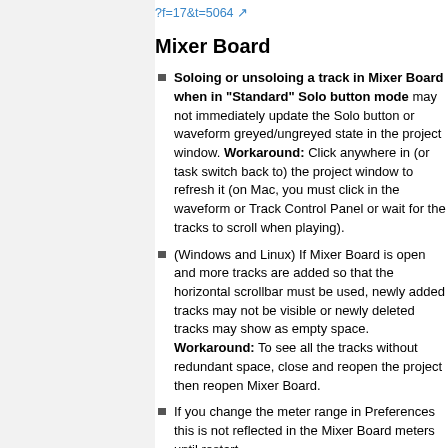?f=17&t=5064
Mixer Board
Soloing or unsoloing a track in Mixer Board when in "Standard" Solo button mode may not immediately update the Solo button or waveform greyed/ungreyed state in the project window. Workaround: Click anywhere in (or task switch back to) the project window to refresh it (on Mac, you must click in the waveform or Track Control Panel or wait for the tracks to scroll when playing).
(Windows and Linux) If Mixer Board is open and more tracks are added so that the horizontal scrollbar must be used, newly added tracks may not be visible or newly deleted tracks may show as empty space. Workaround: To see all the tracks without redundant space, close and reopen the project then reopen Mixer Board.
If you change the meter range in Preferences this is not reflected in the Mixer Board meters until restart.